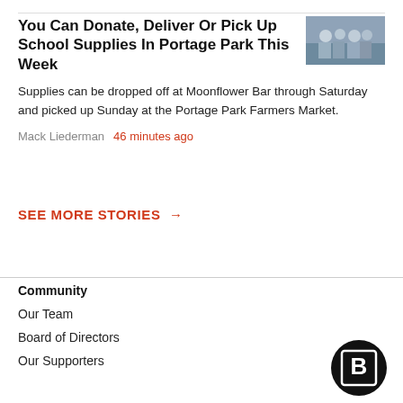You Can Donate, Deliver Or Pick Up School Supplies In Portage Park This Week
Supplies can be dropped off at Moonflower Bar through Saturday and picked up Sunday at the Portage Park Farmers Market.
Mack Liederman  46 minutes ago
[Figure (photo): People gathered outdoors, group shot]
SEE MORE STORIES →
Community
Our Team
Board of Directors
Our Supporters
[Figure (logo): Block Club Chicago logo — bold B in a square inside a circle]